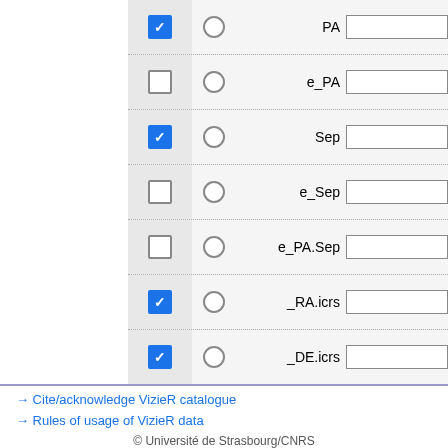| Check | Radio | Label | Input |
| --- | --- | --- | --- |
| checked | ○ | PA |  |
| unchecked | ○ | e_PA |  |
| checked | ○ | Sep |  |
| unchecked | ○ | e_Sep |  |
| unchecked | ○ | e_PA.Sep |  |
| checked | ○ | _RA.icrs |  |
| checked | ○ | _DE.icrs |  |
ALL cols  Reset All  Clear
Adapt form  Display your selection only
Display ✓ UCD1+ □ UCD
→ Cite/acknowledge VizieR catalogue
→ Rules of usage of VizieR data
© Université de Strasbourg/CNRS